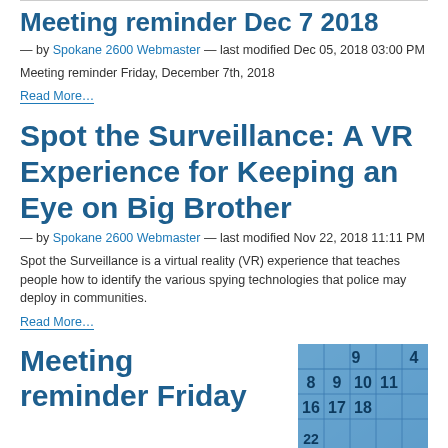Meeting reminder Dec 7 2018
— by Spokane 2600 Webmaster — last modified Dec 05, 2018 03:00 PM
Meeting reminder Friday, December 7th, 2018
Read More…
Spot the Surveillance: A VR Experience for Keeping an Eye on Big Brother
— by Spokane 2600 Webmaster — last modified Nov 22, 2018 11:11 PM
Spot the Surveillance is a virtual reality (VR) experience that teaches people how to identify the various spying technologies that police may deploy in communities.
Read More…
Meeting reminder Friday
[Figure (photo): A blue calendar showing dates 8 through 18 visible]